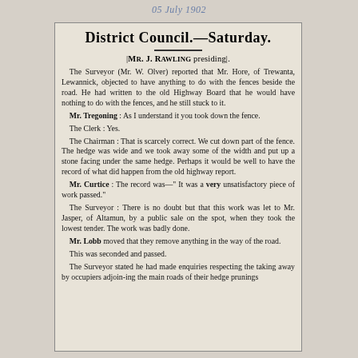05 July 1902
District Council.—Saturday.
[Mr. J. Rawling presiding].
The Surveyor (Mr. W. Olver) reported that Mr. Hore, of Trewanta, Lewannick, objected to have anything to do with the fences beside the road. He had written to the old Highway Board that he would have nothing to do with the fences, and he still stuck to it.
 Mr. Tregoning : As I understand it you took down the fence.
 The Clerk : Yes.
 The Chairman : That is scarcely correct. We cut down part of the fence. The hedge was wide and we took away some of the width and put up a stone facing under the same hedge. Perhaps it would be well to have the record of what did happen from the old highway report.
 Mr. Curtice : The record was—"It was a very unsatisfactory piece of work passed."
 The Surveyor : There is no doubt but that this work was let to Mr. Jasper, of Altamun, by a public sale on the spot, when they took the lowest tender. The work was badly done.
 Mr. Lobb moved that they remove anything in the way of the road.
 This was seconded and passed.
 The Surveyor stated he had made enquiries respecting the taking away by occupiers adjoining the main roads of their hedge prunings